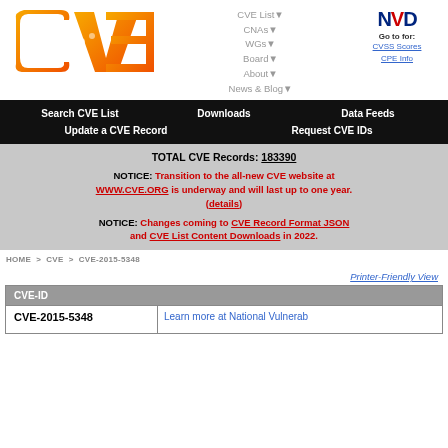[Figure (logo): CVE logo - orange gradient stylized text]
CVE List▼
CNAs▼
WGs▼
Board▼
About▼
News & Blog▼
[Figure (logo): NVD logo - blue text]
Go to for: CVSS Scores CPE Info
Search CVE List    Downloads    Data Feeds    Update a CVE Record    Request CVE IDs
TOTAL CVE Records: 183390
NOTICE: Transition to the all-new CVE website at WWW.CVE.ORG is underway and will last up to one year. (details)
NOTICE: Changes coming to CVE Record Format JSON and CVE List Content Downloads in 2022.
HOME > CVE > CVE-2015-5348
Printer-Friendly View
| CVE-ID |
| --- |
| CVE-2015-5348 | Learn more at National Vulnerab... |